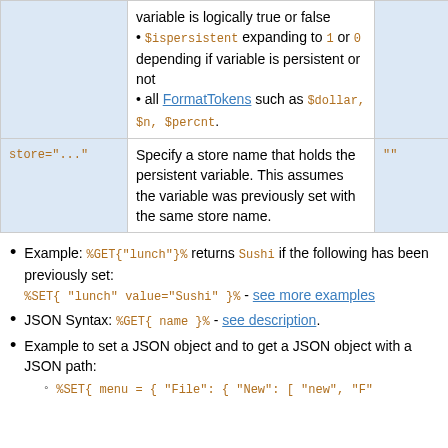|  |  |  |
| --- | --- | --- |
|  | variable is logically true or false
• $ispersistent expanding to 1 or 0 depending if variable is persistent or not
• all FormatTokens such as $dollar, $n, $percnt. |  |
| store="..." | Specify a store name that holds the persistent variable. This assumes the variable was previously set with the same store name. | "" |
Example: %GET{"lunch"}% returns Sushi if the following has been previously set:
%SET{ "lunch" value="Sushi" }% - see more examples
JSON Syntax: %GET{ name }% - see description.
Example to set a JSON object and to get a JSON object with a JSON path:
%SET{ menu = { "File": { "New": [ "new", "F"